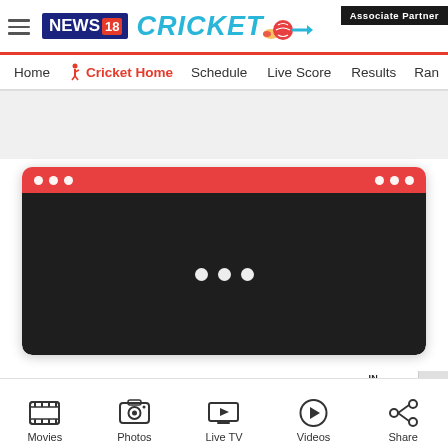[Figure (screenshot): News18 Cricket website header with logo, Associate Partner badge, navigation bar, ad area, video player card with loading dots, breadcrumb navigation, and bottom navigation bar with Movies, Photos, Live TV, Videos, Share icons]
Associate Partner
NEWS18 CRICKET
Home  Cricket Home  Schedule  Live Score  Results  Ran
HOME » CRICKET HOME » NEWS » 'NO SHAME IN LOSING TO IN...
Movies  Photos  Live TV  Videos  Share